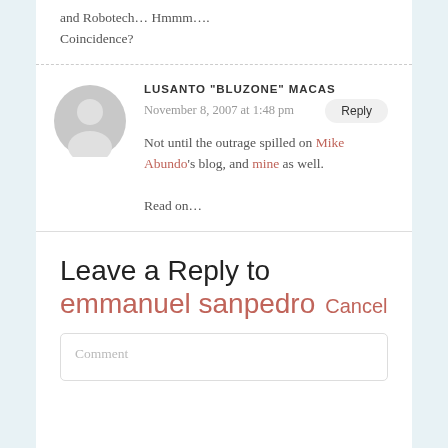and Robotech... Hmmm.... Coincidence?
Not until the outrage spilled on Mike Abundo's blog, and mine as well.

Read on...
LUSANTO "BLUZONE" MACAS
November 8, 2007 at 1:48 pm
Leave a Reply to emmanuel sanpedro   Cancel
Comment